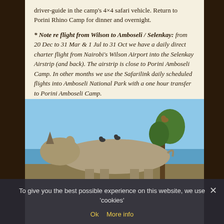driver-guide in the camp's 4×4 safari vehicle. Return to Porini Rhino Camp for dinner and overnight.
* Note re flight from Wilson to Amboseli / Selenkay: from 20 Dec to 31 Mar & 1 Jul to 31 Oct we have a daily direct charter flight from Nairobi's Wilson Airport into the Selenkay Airstrip (and back). The airstrip is close to Porini Amboseli Camp. In other months we use the Safarilink daily scheduled flights into Amboseli National Park with a one hour transfer to Porini Amboseli Camp.
Day 6
Full day in Ol Pejeta with game drives and walking activities from camp. Dinner and overnight at Porini Rhino Camp.
[Figure (photo): A rhinoceros with birds perched on its back, photographed against a blue sky with a tree in the background.]
To give you the best possible experience on this website, we use 'cookies'
Ok   More info